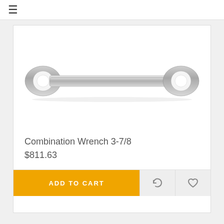≡
[Figure (photo): A chrome combination wrench viewed from above, showing both ends of the tool on a white background.]
Combination Wrench 3-7/8
$811.63
ADD TO CART